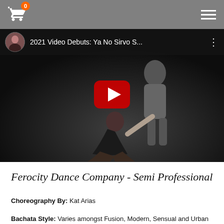Shopping cart (0 items) | Menu
[Figure (screenshot): YouTube video thumbnail showing '2021 Video Debuts: Ya No Sirvo S...' with two dancers on a dark background, a play button overlay, and a circular avatar of a woman in the top left.]
Ferocity Dance Company - Semi Professional
Choreography By: Kat Arias
Bachata Style: Varies amongst Fusion, Modern, Sensual and Urban
Current Schedule: Sundays, 8pm-10pm
Next Season Starts: January 2023